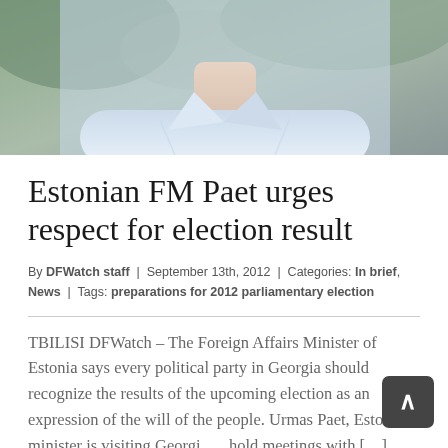[Figure (photo): Photo of a person wearing a light blue shirt, cropped to show torso and neck area against a blurred outdoor background.]
Estonian FM Paet urges respect for election result
By DFWatch staff | September 13th, 2012 | Categories: In brief, News | Tags: preparations for 2012 parliamentary election
TBILISI DFWatch – The Foreign Affairs Minister of Estonia says every political party in Georgia should recognize the results of the upcoming election as an expression of the will of the people. Urmas Paet, Estonia's minister is visiting Georgia to hold meetings with […]